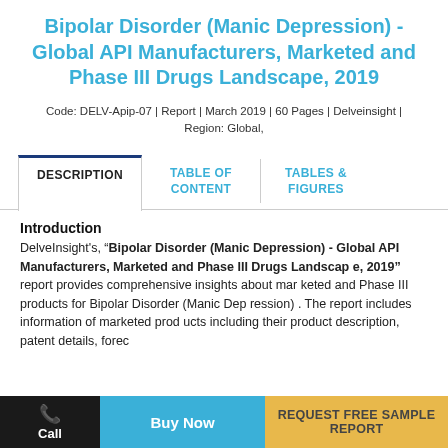Bipolar Disorder (Manic Depression) - Global API Manufacturers, Marketed and Phase III Drugs Landscape, 2019
Code: DELV-Apip-07 | Report | March 2019 | 60 Pages | Delveinsight | Region: Global,
DESCRIPTION
TABLE OF CONTENT
TABLES & FIGURES
Introduction
DelveInsight's, “Bipolar Disorder (Manic Depression) - Global API Manufacturers, Marketed and Phase III Drugs Landscape, 2019” report provides comprehensive insights about marketed and Phase III products for Bipolar Disorder (Manic Depression) . The report includes information of marketed products including their product description, patent details, forec
Call
Buy Now
REQUEST FREE SAMPLE REPORT